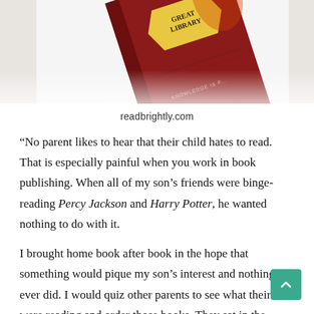[Figure (photo): Photo of a book tilted at an angle showing spine text 'Great Library' and 'Knowledge is P...' on a light background]
readbrightly.com
“No parent likes to hear that their child hates to read. That is especially painful when you work in book publishing. When all of my son’s friends were binge-reading Percy Jackson and Harry Potter, he wanted nothing to do with it.
I brought home book after book in the hope that something would pique my son’s interest and nothing ever did. I would quiz other parents to see what their kids were reading and order those books. They sat in the living room completely untouched."